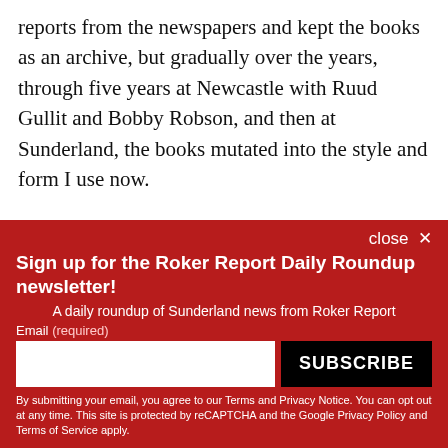reports from the newspapers and kept the books as an archive, but gradually over the years, through five years at Newcastle with Ruud Gullit and Bobby Robson, and then at Sunderland, the books mutated into the style and form I use now.

As they are an archive and a record of the matches I have covered I have strived to try and produce
[Figure (screenshot): Newsletter signup overlay with red background. Headline: 'Sign up for the Roker Report Daily Roundup newsletter!'. Subtext: 'A daily roundup of Sunderland news from Roker Report'. Email input field and SUBSCRIBE button. Legal disclaimer text at bottom.]